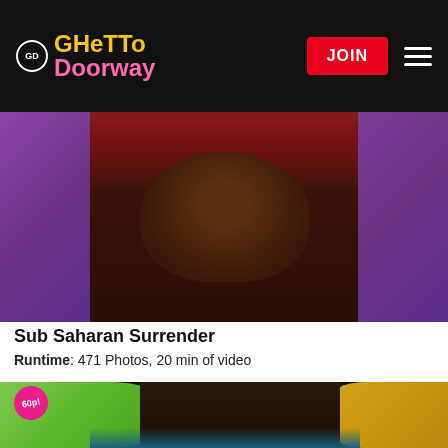Ghetto Doorway – JOIN
[Figure (photo): Close-up photo of a woman with red hair and a metal collar necklace against a purple background]
Sub Saharan Surrender
Runtime: 471 Photos, 20 min of video
[Figure (photo): Close-up photo of a woman with black and white braids against a colorful background, with a 60p badge in the top left corner]